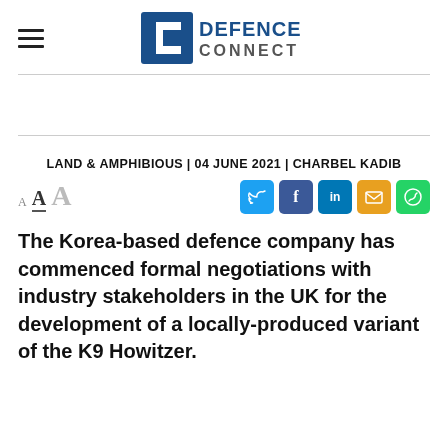DEFENCE CONNECT (logo)
LAND & AMPHIBIOUS | 04 JUNE 2021 | CHARBEL KADIB
[Figure (infographic): Social share buttons (Twitter, Facebook, LinkedIn, Email, WhatsApp) and font size selectors (A A A)]
The Korea-based defence company has commenced formal negotiations with industry stakeholders in the UK for the development of a locally-produced variant of the K9 Howitzer.